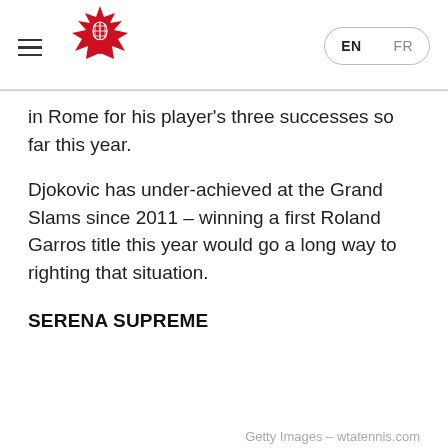Tennis Canada website header with logo and EN/FR language switcher
in Rome for his player's three successes so far this year.
Djokovic has under-achieved at the Grand Slams since 2011 – winning a first Roland Garros title this year would go a long way to righting that situation.
SERENA SUPREME
Getty Images – wtatennis.com